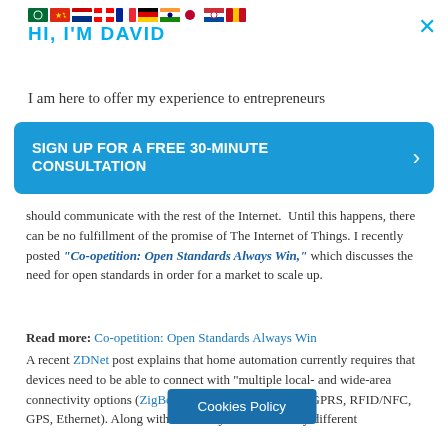[Figure (illustration): Row of country flag emoji icons: green circle/Saudi, Chinese, Dutch, Canadian, French, German, Indian, Japanese, South Korean, Spanish flags]
HI, I'M DAVID
I am here to offer my experience to entrepreneurs
SIGN UP FOR A FREE 30-MINUTE CONSULTATION
should communicate with the rest of the Internet.  Until this happens, there can be no fulfillment of the promise of The Internet of Things. I recently posted “Co-opetition: Open Standards Always Win,” which discusses the need for open standards in order for a market to scale up.
Read more: Co-opetition: Open Standards Always Win
A recent ZDNet post explains that home automation currently requires that devices need to be able to connect with “multiple local- and wide-area connectivity options (ZigBee, Wi-Fi, Bluetooth, GSM/GPRS, RFID/NFC, GPS, Ethernet). Along with the ability to interoperate by different
Cookies Policy